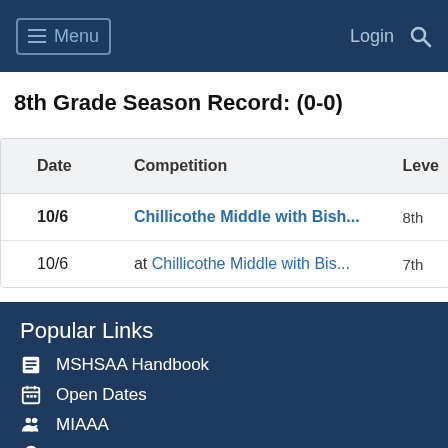Menu  Login
8th Grade Season Record: (0-0)
| Date | Competition | Leve |
| --- | --- | --- |
| 10/6 | Chillicothe Middle with Bish... | 8th |
| 10/6 | at  Chillicothe Middle with Bis... | 7th |
Popular Links
MSHSAA Handbook
Open Dates
MIAAA
Class and District Assignments